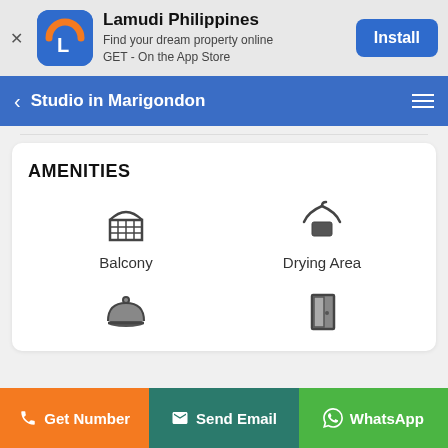[Figure (screenshot): App install banner for Lamudi Philippines with app icon, name, description, and Install button]
Studio in Marigondon
AMENITIES
Balcony
Drying Area
[Figure (illustration): Balcony icon - arched window/door with grid]
[Figure (illustration): Drying Area icon - clothes hanger]
[Figure (illustration): Room service / bell cloche icon]
[Figure (illustration): Door / entrance icon]
Get Number | Send Email | WhatsApp